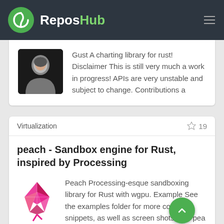ReposHub
Gust A charting library for rust! Disclaimer This is still very much a work in progress! APIs are very unstable and subject to change. Contributions a
Virtualization
19
peach - Sandbox engine for Rust, inspired by Processing
Peach Processing-esque sandboxing library for Rust with wgpu. Example See the examples folder for more code snippets, as well as screenshots. use pea